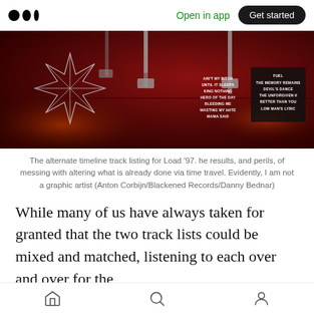Medium logo | Open in app | Get started
[Figure (photo): Metallica Load/Reload album artwork showing guitar hardware on a dark red background with a Metallica star/ninja throwing star logo on the left and two track listing text boxes overlaid on the right side.]
The alternate timeline track listing for Load '97. he results, and perils, of messing with altering what is already done via time travel. Evidently, I am not a graphic artist (Anton Corbijn/Blackened Records/Danny Bednar)
While many of us have always taken for granted that the two track lists could be mixed and matched, listening to each over and over for the
Home | Search | Profile